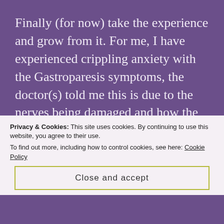Finally (for now) take the experience and grow from it. For me, I have experienced crippling anxiety with the Gastroparesis symptoms, the doctor(s) told me this is due to the nerves being damaged and how the mind-gut connection is so close, what feels like mental anxiety is actually physical anxiety and you cannot tell the difference. It feels like a huge panic attack. There's not much that works against that, except taking some type of anti-anxiety medication in the short-term or long-term if it helps. I used to think taking pills was a last resort and yet, it's
Privacy & Cookies: This site uses cookies. By continuing to use this website, you agree to their use.
To find out more, including how to control cookies, see here: Cookie Policy
Close and accept